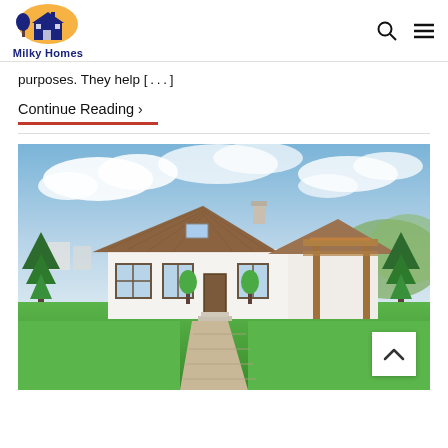Milky Homes
purposes. They help [...]
Continue Reading >
[Figure (photo): A white house with a brown tiled roof, wooden pergola, green lawn, and garden trees under a partly cloudy blue sky.]